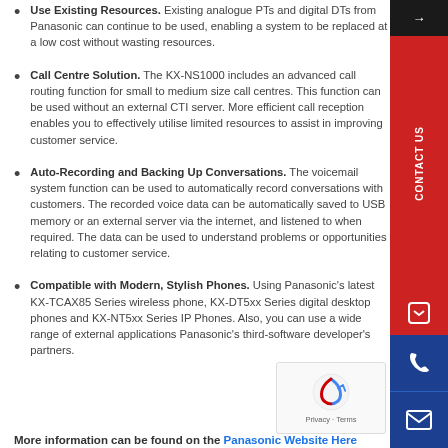Use Existing Resources. Existing analogue PTs and digital DTs from Panasonic can continue to be used, enabling a system to be replaced at a low cost without wasting resources.
Call Centre Solution. The KX-NS1000 includes an advanced call routing function for small to medium size call centres. This function can be used without an external CTI server. More efficient call reception enables you to effectively utilise limited resources to assist in improving customer service.
Auto-Recording and Backing Up Conversations. The voicemail system function can be used to automatically record conversations with customers. The recorded voice data can be automatically saved to USB memory or an external server via the internet, and listened to when required. The data can be used to understand problems or opportunities relating to customer service.
Compatible with Modern, Stylish Phones. Using Panasonic's latest KX-TCAX85 Series wireless phone, KX-DT5xx Series digital desktop phones and KX-NT5xx Series IP Phones. Also, you can use a wide range of external applications Panasonic's third-software developer's partners.
More information can be found on the Panasonic Website Here